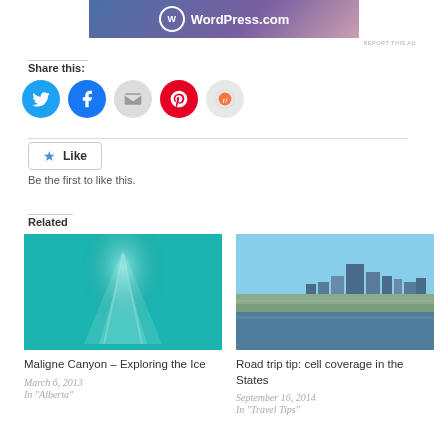[Figure (other): WordPress.com advertisement banner with logo and gradient background]
REPORT THIS AD
Share this:
[Figure (other): Social sharing icons: Twitter (blue), Facebook (blue), Email (gray), Pinterest (red), Reddit (light gray)]
Like
Be the first to like this.
Related
[Figure (photo): Teal/cyan lit ice cave interior with glowing ice formations - Maligne Canyon]
Maligne Canyon – Exploring the Ice
March 6, 2013
In "Alberta"
[Figure (photo): City skyline viewed from water with blue sky - Road trip cell coverage]
Road trip tip: cell coverage in the States
September 16, 2014
In "Travel Tips"